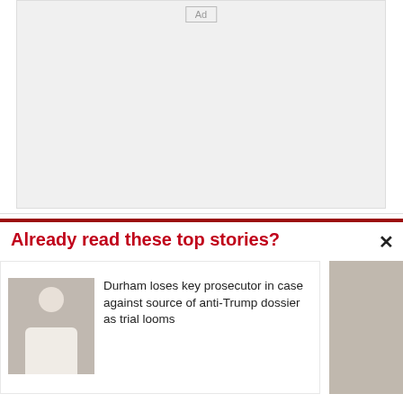[Figure (other): Advertisement placeholder box with 'Ad' label at top center]
Already read these top stories?
[Figure (photo): Small thumbnail photo of a man in a white shirt, used as story card image]
Durham loses key prosecutor in case against source of anti-Trump dossier as trial looms
[Figure (photo): Partially visible second story card image on the right edge]